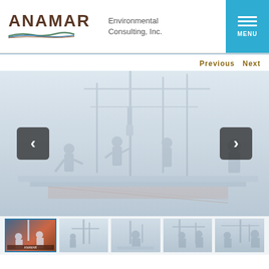[Figure (logo): ANAMAR Environmental Consulting, Inc. logo with wave graphic and teal menu button]
Previous Next
[Figure (photo): Faded/washed-out photo of workers on a marine drilling or barge platform with equipment and masts, with left and right navigation arrows overlaid]
[Figure (photo): Row of 5 thumbnail photos showing various views of marine/barge operations and workers]